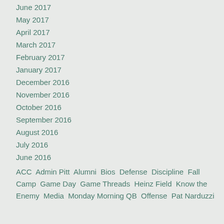June 2017
May 2017
April 2017
March 2017
February 2017
January 2017
December 2016
November 2016
October 2016
September 2016
August 2016
July 2016
June 2016
ACC  Admin Pitt  Alumni  Bios  Defense  Discipline  Fall Camp  Game Day  Game Threads  Heinz Field  Know the Enemy  Media  Monday Morning QB  Offense  Pat Narduzzi